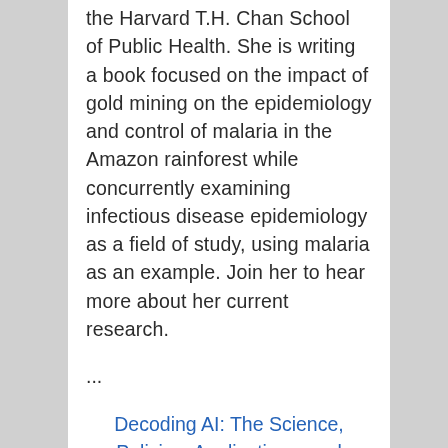the Harvard T.H. Chan School of Public Health. She is writing a book focused on the impact of gold mining on the epidemiology and control of malaria in the Amazon rainforest while concurrently examining infectious disease epidemiology as a field of study, using malaria as an example. Join her to hear more about her current research.
...
Decoding AI: The Science, Policies, Applications, and